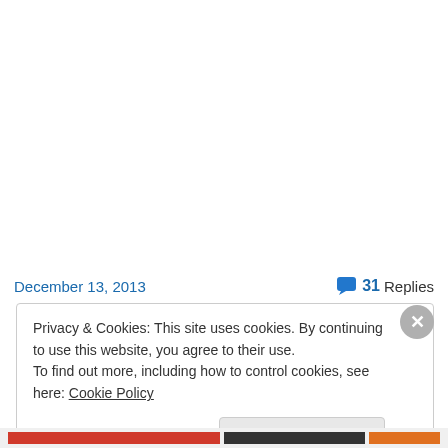December 13, 2013
31 Replies
Privacy & Cookies: This site uses cookies. By continuing to use this website, you agree to their use.
To find out more, including how to control cookies, see here: Cookie Policy
Close and accept